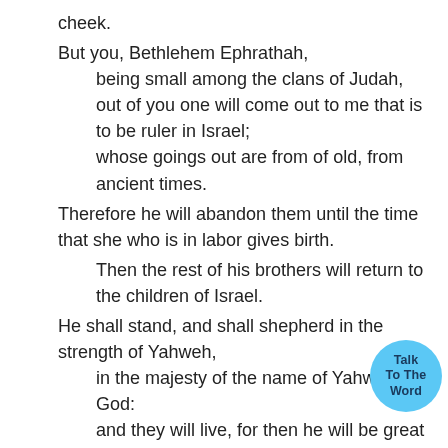cheek.
But you, Bethlehem Ephrathah,
    being small among the clans of Judah,
    out of you one will come out to me that is to be ruler in Israel;
    whose goings out are from of old, from ancient times.
Therefore he will abandon them until the time that she who is in labor gives birth.
    Then the rest of his brothers will return to the children of Israel.
He shall stand, and shall shepherd in the strength of Yahweh,
    in the majesty of the name of Yahweh his God:
    and they will live, for then he will be great to the ends of the earth.

Micah 5 [5.] He will be our peace when Assyria invades o...
    and when he marches through our fortresses,